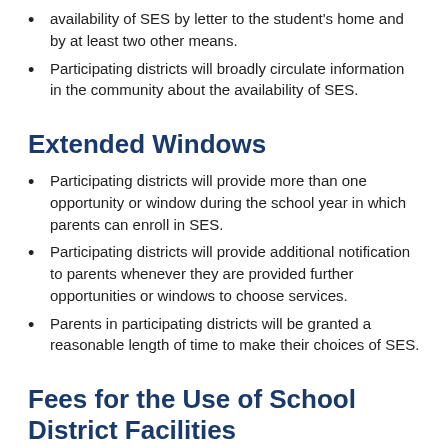availability of SES by letter to the student's home and by at least two other means.
Participating districts will broadly circulate information in the community about the availability of SES.
Extended Windows
Participating districts will provide more than one opportunity or window during the school year in which parents can enroll in SES.
Participating districts will provide additional notification to parents whenever they are provided further opportunities or windows to choose services.
Parents in participating districts will be granted a reasonable length of time to make their choices of SES.
Fees for the Use of School District Facilities
Participating districts will agree to charge fees for the use of facilities that are reasonable and similar in nature and amount to the fees charged to other